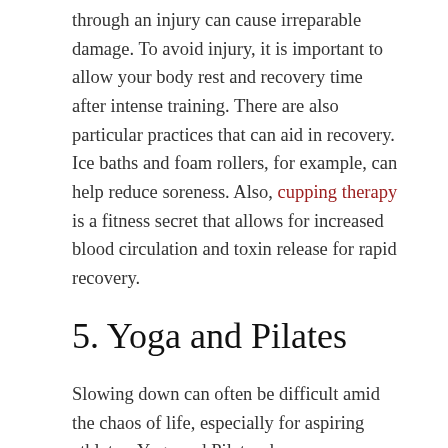through an injury can cause irreparable damage. To avoid injury, it is important to allow your body rest and recovery time after intense training. There are also particular practices that can aid in recovery. Ice baths and foam rollers, for example, can help reduce soreness. Also, cupping therapy is a fitness secret that allows for increased blood circulation and toxin release for rapid recovery.
5. Yoga and Pilates
Slowing down can often be difficult amid the chaos of life, especially for aspiring athletes. Yoga and Pilates, however, are both types of exercises that allow room for the concentration of breathing and stillness. Not only do they help with reducing distraction, but they can also greatly increase flexibility. Several athletes practice these exercise formats to help increase their performances.